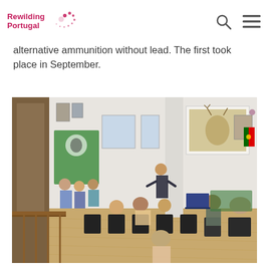Rewilding Portugal [logo with navigation icons]
alternative ammunition without lead. The first took place in September.
[Figure (photo): Indoor workshop or presentation session. A speaker stands at a projector screen showing a wildlife image (deer) at the front of a bright white-walled room. Attendees sit in black chairs arranged in a semi-circle, maintaining some distance between them. A wooden railing is visible in the foreground. WWF banners are visible on the left wall. A Portuguese flag and other decorations are visible on the right. The floor is polished wood.]